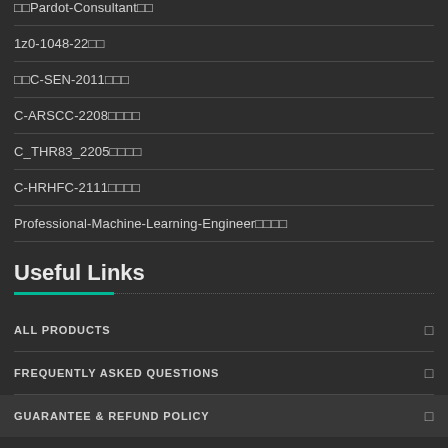Pardot-Consultant试题
1z0-1048-22试题
SAP C-SEN-2011试题
C-ARSCC-2208试题
C_THR83_2205试题
C-HRHFC-2111试题
Professional-Machine-Learning-Engineer试题
Useful Links
ALL PRODUCTS
FREQUENTLY ASKED QUESTIONS
GUARANTEE & REFUND POLICY